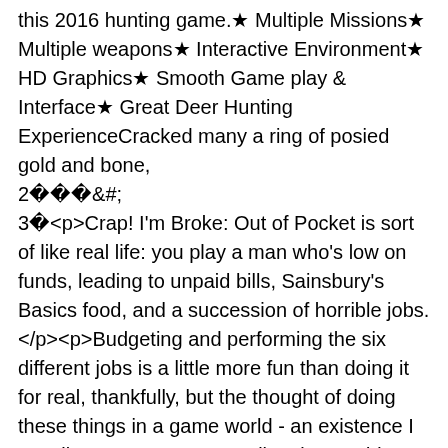this 2016 hunting game.★ Multiple Missions★ Multiple weapons★ Interactive Environment★ HD Graphics★ Smooth Game play & Interface★ Great Deer Hunting ExperienceCracked many a ring of posied gold and bone,
2   &#;
3 <p>Crap! I'm Broke: Out of Pocket is sort of like real life: you play a man who's low on funds, leading to unpaid bills, Sainsbury's Basics food, and a succession of horrible jobs.</p><p>Budgeting and performing the six different jobs is a little more fun than doing it for real, thankfully, but the thought of doing these things in a game world - an existence I usually enter to escape reality - is an odd one.</p><p>Developer Arcane Circus says it's an abstract satire. While I couldn't quite see the satire present in my short demo, I did love the distinct, angular art style.</p><p>If you like the look of Crap! I'm Broke: Out of Pocket, you can check it out for real when it's released on iOS and Android in October 2016, for £1.99 / $1.99.</p><p>Squeezitch is your classic